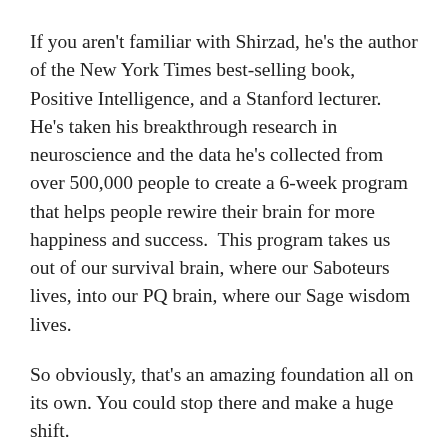If you aren't familiar with Shirzad, he's the author of the New York Times best-selling book, Positive Intelligence, and a Stanford lecturer. He's taken his breakthrough research in neuroscience and the data he's collected from over 500,000 people to create a 6-week program that helps people rewire their brain for more happiness and success.  This program takes us out of our survival brain, where our Saboteurs lives, into our PQ brain, where our Sage wisdom lives.
So obviously, that's an amazing foundation all on its own. You could stop there and make a huge shift.